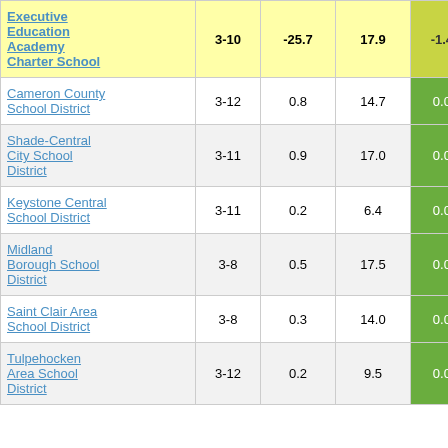|  | Grades |  |  |  |
| --- | --- | --- | --- | --- |
| Executive Education Academy Charter School | 3-10 | -25.7 | 17.9 | -1.43 |
| Cameron County School District | 3-12 | 0.8 | 14.7 | 0.05 |
| Shade-Central City School District | 3-11 | 0.9 | 17.0 | 0.05 |
| Keystone Central School District | 3-11 | 0.2 | 6.4 | 0.04 |
| Midland Borough School District | 3-8 | 0.5 | 17.5 | 0.03 |
| Saint Clair Area School District | 3-8 | 0.3 | 14.0 | 0.02 |
| Tulpehocken Area School District | 3-12 | 0.2 | 9.5 | 0.02 |